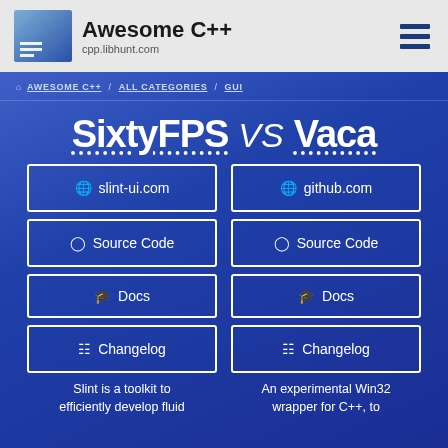Awesome C++ cpp.libhunt.com
AWESOME C++ / ALL CATEGORIES / GUI
SixtyFPS VS Vaca
slint-ui.com
github.com
Source Code
Source Code
Docs
Docs
Changelog
Changelog
Slint is a toolkit to efficiently develop fluid
An experimental Win32 wrapper for C++, to